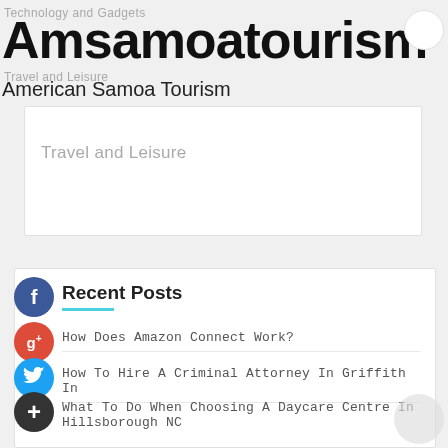Technology and Gadgets
Amsamoatourism
Travel and Leisure (ghost subtitle)
American Samoa Tourism
Travel and Leisure
Recent Posts
How Does Amazon Connect Work?
How To Hire A Criminal Attorney In Griffith In
What To Do When Choosing A Daycare Centre In Hillsborough NC